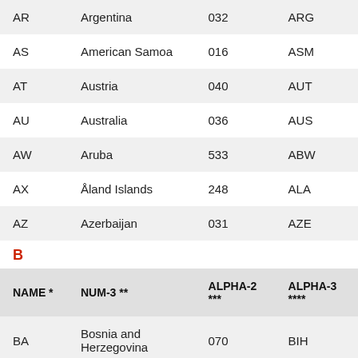|  | NAME * | NUM-3 ** | ALPHA-2 *** | ALPHA-3 **** |
| --- | --- | --- | --- | --- |
| AR | Argentina | 032 | ARG |
| AS | American Samoa | 016 | ASM |
| AT | Austria | 040 | AUT |
| AU | Australia | 036 | AUS |
| AW | Aruba | 533 | ABW |
| AX | Åland Islands | 248 | ALA |
| AZ | Azerbaijan | 031 | AZE |
| B |  |  |  |
| BA | Bosnia and Herzegovina | 070 | BIH |